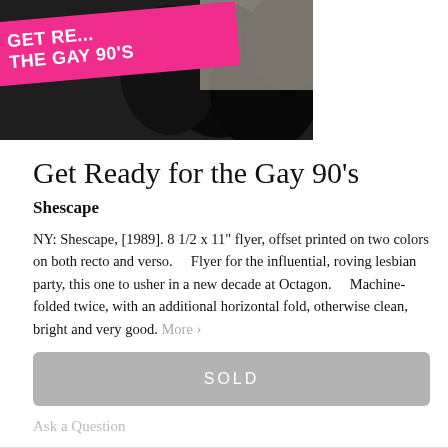[Figure (photo): Flyer image for 'Get Ready for the Gay 90s' event by Shescape, showing a pink diagonal banner with white bold text over a dark background with black circular shapes]
Get Ready for the Gay 90's
Shescape
NY: Shescape, [1989]. 8 1/2 x 11" flyer, offset printed on two colors on both recto and verso.     Flyer for the influential, roving lesbian party, this one to usher in a new decade at Octagon.      Machine-folded twice, with an additional horizontal fold, otherwise clean, bright and very good. More >
SOLD
Ask a Question